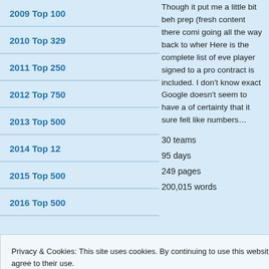2009 Top 100
2010 Top 329
2011 Top 250
2012 Top 750
2013 Top 500
2014 Top 12
2015 Top 500
2016 Top 500
Though it put me a little bit beh prep (fresh content there comi going all the way back to wher Here is the complete list of eve player signed to a pro contract is included. I don't know exact Google doesn't seem to have a of certainty that it sure felt like numbers…
30 teams
95 days
249 pages
200,015 words
Privacy & Cookies: This site uses cookies. By continuing to use this website, you agree to their use.
To find out more, including how to control cookies, see here: Cookie Policy
Close and accept
2009 MLB Mock Draft 3.0